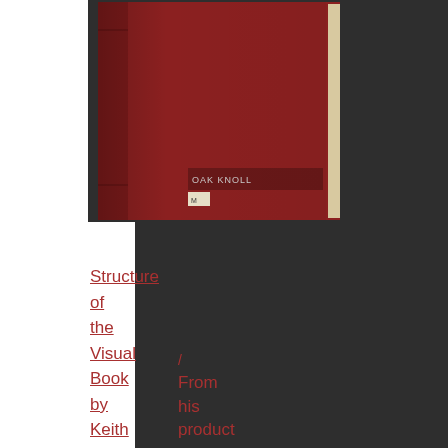[Figure (photo): A red hardcover book standing upright, with a library stamp visible on the spine area reading 'OAK KNOLL']
Structure of the Visual Book by Keith A. Smith
/ From his product page: "... This